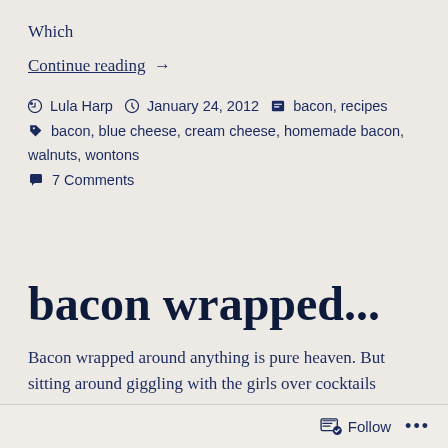Which
Continue reading  →
Lula Harp  January 24, 2012  bacon, recipes
bacon, blue cheese, cream cheese, homemade bacon, walnuts, wontons
7 Comments
bacon wrapped...
Bacon wrapped around anything is pure heaven. But sitting around giggling with the girls over cocktails
Follow  •••